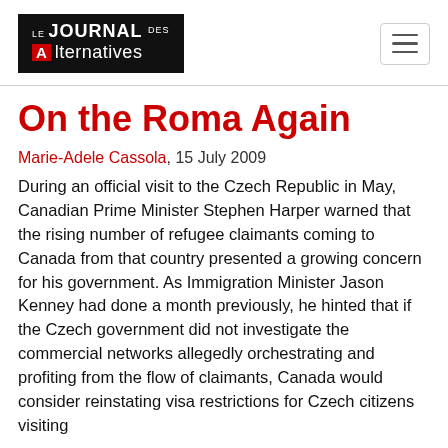Le Journal des Alternatives
On the Roma Again
Marie-Adele Cassola, 15 July 2009
During an official visit to the Czech Republic in May, Canadian Prime Minister Stephen Harper warned that the rising number of refugee claimants coming to Canada from that country presented a growing concern for his government. As Immigration Minister Jason Kenney had done a month previously, he hinted that if the Czech government did not investigate the commercial networks allegedly orchestrating and profiting from the flow of claimants, Canada would consider reinstating visa restrictions for Czech citizens visiting